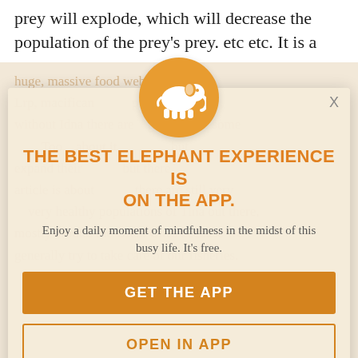prey will explode, which will decrease the population of the prey's prey. etc etc. It is a
huge, massive food web. Examples: Lrp, macifican... ple . So, without Idna there are going to be some ... expand their ... but there ... article is about ... there are still very ... very healthy populations of Tina out there, mostly around the Great Cites because we generally try to take care of our fisheries.
[Figure (illustration): Elephant app icon: white elephant silhouette on an orange circle]
THE BEST ELEPHANT EXPERIENCE IS ON THE APP.
Enjoy a daily moment of mindfulness in the midst of this busy life. It's free.
GET THE APP
OPEN IN APP